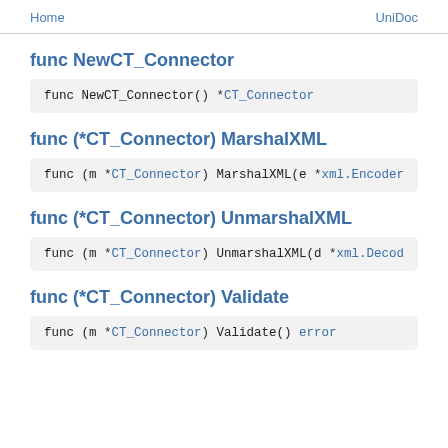Home    UniDoc
func NewCT_Connector
func NewCT_Connector() *CT_Connector
func (*CT_Connector) MarshalXML
func (m *CT_Connector) MarshalXML(e *xml.Encoder
func (*CT_Connector) UnmarshalXML
func (m *CT_Connector) UnmarshalXML(d *xml.Decod
func (*CT_Connector) Validate
func (m *CT_Connector) Validate() error